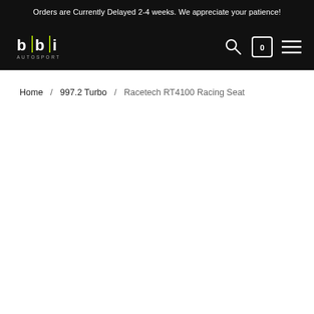Orders are Currently Delayed 2-4 weeks. We appreciate your patience!
[Figure (logo): BBI Autosport logo — stylized letters b|b|i with AUTOSPORT text below, white on black background]
Home / 997.2 Turbo / Racetech RT4100 Racing Seat